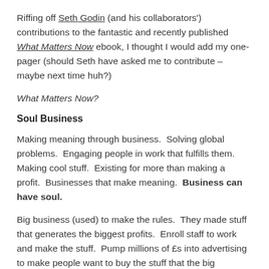Riffing off Seth Godin (and his collaborators') contributions to the fantastic and recently published What Matters Now ebook, I thought I would add my one-pager (should Seth have asked me to contribute – maybe next time huh?)
What Matters Now?
Soul Business
Making meaning through business.  Solving global problems.  Engaging people in work that fulfills them. Making cool stuff.  Existing for more than making a profit.  Businesses that make meaning.  Business can have soul.
Big business (used) to make the rules.  They made stuff that generates the biggest profits.  Enroll staff to work and make the stuff.  Pump millions of £s into advertising to make people want to buy the stuff that the big companies are making.  It has no enduring meaning.  Everyone knew it, there just wasn't the ready means to challenge or change it (you needed money,